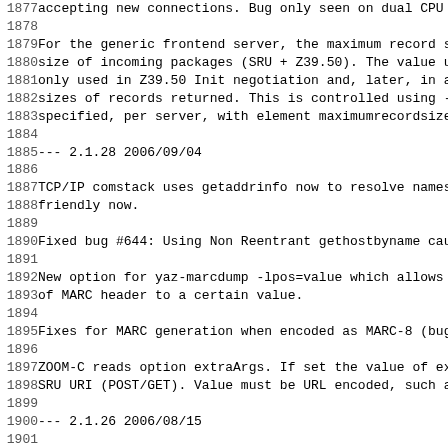1877 accepting new connections. Bug only seen on dual CPU w...
1878
1879 For the generic frontend server, the maximum record siz...
1880 size of incoming packages (SRU + Z39.50). The value unt...
1881 only used in Z39.50 Init negotiation and, later, in a s...
1882 sizes of records returned. This is controlled using -k...
1883 specified, per server, with element maximumrecordsize i...
1884
1885 --- 2.1.28 2006/09/04
1886
1887 TCP/IP comstack uses getaddrinfo now to resolve names....
1888 friendly now.
1889
1890 Fixed bug #644: Using Non Reentrant gethostbyname cause...
1891
1892 New option for yaz-marcdump -lpos=value which allows se...
1893 of MARC header to a certain value.
1894
1895 Fixes for MARC generation when encoded as MARC-8 (bug 6...
1896
1897 ZOOM-C reads option extraArgs. If set the value of extr...
1898 SRU URI (POST/GET). Value must be URL encoded, such as...
1899
1900 --- 2.1.26 2006/08/15
1901
1902 Fixed problem with SRU mode type (soap, get, post) for...
1903 and ZOOM-C.
1904
1905 Fixed problem another problem with ZOOM_EVENT_RECV_RECO...
1906
1907 --- 2.1.24 2006/08/08
1908
1909 Fixed MARC I006708 ...